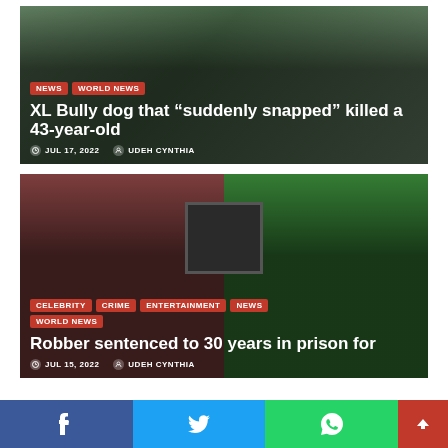[Figure (photo): XL Bully dog article card with dog photo background, category tags NEWS and WORLD NEWS, headline, date and author]
XL Bully dog that “suddenly snapped” killed a 43-year-old
JUL 17, 2022  UDEH CYNTHIA
[Figure (photo): Robber sentenced article card with two men photo background, category tags CELEBRITY, CRIME, ENTERTAINMENT, NEWS, WORLD NEWS, headline, date and author]
Robber sentenced to 30 years in prison for
JUL 15, 2022  UDEH CYNTHIA